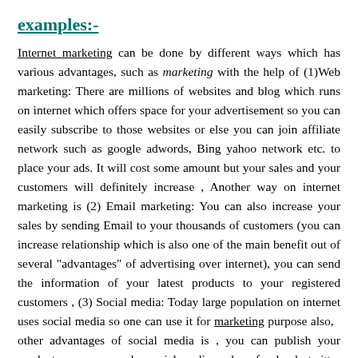examples:-
Internet marketing can be done by different ways which has various advantages, such as marketing with the help of (1)Web marketing: There are millions of websites and blog which runs on internet which offers space for your advertisement so you can easily subscribe to those websites or else you can join affiliate network such as google adwords, Bing yahoo network etc. to place your ads. It will cost some amount but your sales and your customers will definitely increase , Another way on internet marketing is (2) Email marketing: You can also increase your sales by sending Email to your thousands of customers (you can increase relationship which is also one of the main benefit out of several "advantages" of advertising over internet), you can send the information of your latest products to your registered customers , (3) Social media: Today large population on internet uses social media so one can use it for marketing purpose also,  other advantages of social media is , you can publish your product on some popular social media such as facebook, twitter etc to introduce your product to the world.
Marketing on the internet helps the customers to all over the world...